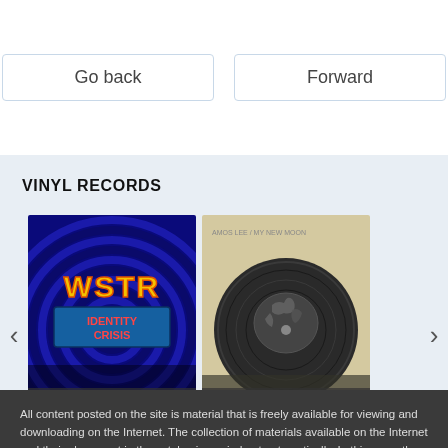Go back
Forward
VINYL RECORDS
[Figure (screenshot): Album cover for WSTR - Identity Crisis (2018): blue psychedelic swirl background with yellow/orange WSTR logo text and 'Identity Crisis' text below]
WSTR - Identity Crisis (2018)
[Figure (screenshot): Album cover for Amos Lee - My New Moon (2018): beige/cream background with a vinyl record featuring a globe/earth image in black and white]
Amos Lee - My New Moon (2018)
All content posted on the site is material that is freely available for viewing and downloading on the Internet. The collection of materials available on the Internet and their placement in the catalog is carried out automatically. In this case, the site administration does not exercise control over the added content. The site administration also does not